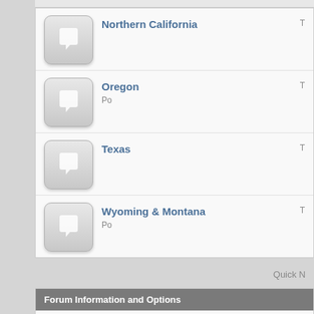Northern California
Oregon
Texas
Wyoming & Montana
Quick N
Forum Information and Options
Moderators of this Forum
72targa